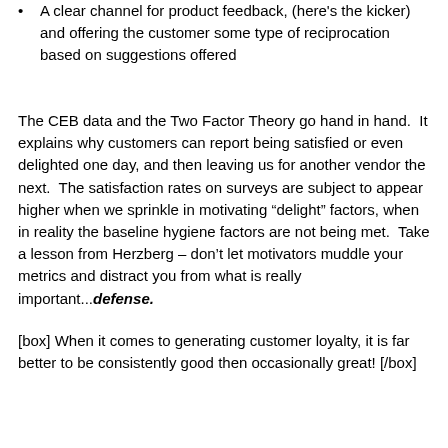A clear channel for product feedback, (here's the kicker) and offering the customer some type of reciprocation based on suggestions offered
The CEB data and the Two Factor Theory go hand in hand.  It explains why customers can report being satisfied or even delighted one day, and then leaving us for another vendor the next.  The satisfaction rates on surveys are subject to appear higher when we sprinkle in motivating “delight” factors, when in reality the baseline hygiene factors are not being met.  Take a lesson from Herzberg – don’t let motivators muddle your metrics and distract you from what is really important...defense.
[box] When it comes to generating customer loyalty, it is far better to be consistently good then occasionally great! [/box]